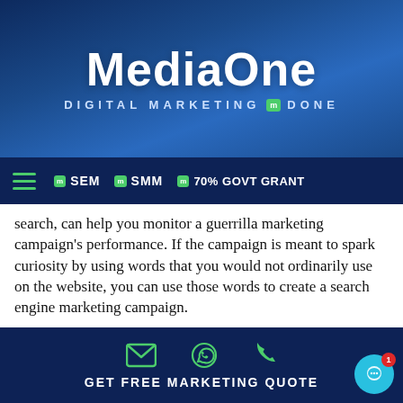MediaOne — DIGITAL MARKETING DONE
SEM  SMM  70% GOVT GRANT
search, can help you monitor a guerrilla marketing campaign's performance. If the campaign is meant to spark curiosity by using words that you would not ordinarily use on the website, you can use those words to create a search engine marketing campaign.
For instance, you can use a random name that is related to your product and is memorable. Bid for that word and track the number of people who use it to find your website or online store. The data will help you know how the customers interact and behave when they land on your
GET FREE MARKETING QUOTE